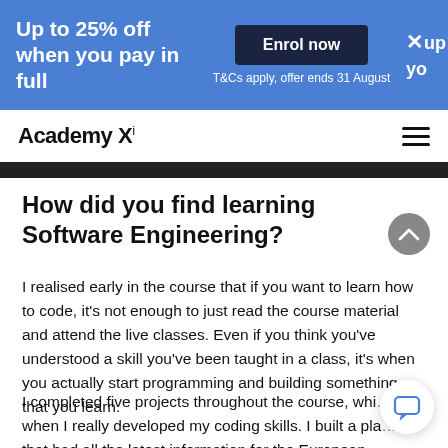Up to 25% off when you pay in full | Enrol now | T&Cs apply, offer ends 31 August
Academy Xi
How did you find learning Software Engineering?
I realised early in the course that if you want to learn how to code, it's not enough to just read the course material and attend the live classes. Even if you think you've understood a skill you've been taught in a class, it's when you actually start programming and building something that you learn.
I completed five projects throughout the course, whi… when I really developed my coding skills. I built a pla… that had all the latest information for the European socce…